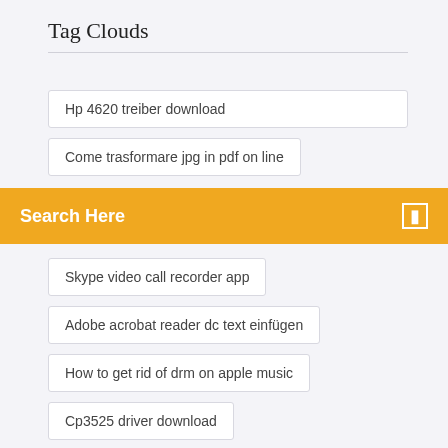Tag Clouds
Hp 4620 treiber download
Come trasformare jpg in pdf on line
Search Here
Skype video call recorder app
Adobe acrobat reader dc text einfügen
How to get rid of drm on apple music
Cp3525 driver download